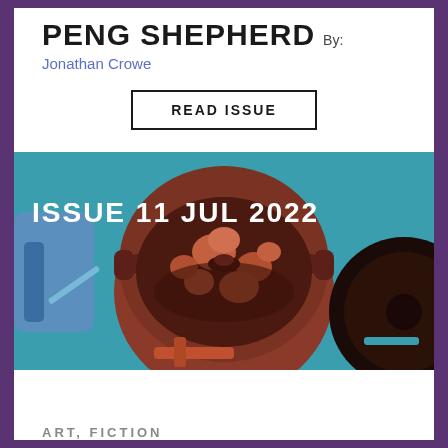PENG SHEPHERD By:
Jonathan Crowe
READ ISSUE
[Figure (illustration): Colorful illustrated magazine cover showing a pot of food and cooking utensils on a teal/turquoise background with terracotta/brown tones. Text overlay reads 'ISSUE 11 JUL 2022'.]
ART, FICTION